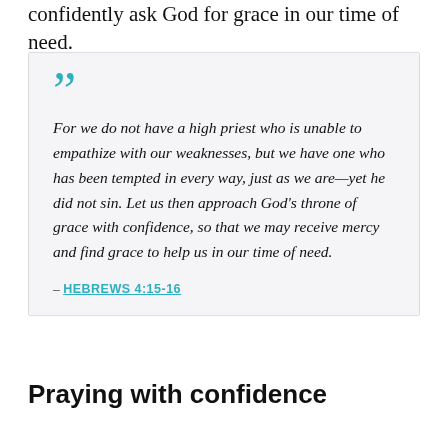confidently ask God for grace in our time of need.
For we do not have a high priest who is unable to empathize with our weaknesses, but we have one who has been tempted in every way, just as we are—yet he did not sin. Let us then approach God's throne of grace with confidence, so that we may receive mercy and find grace to help us in our time of need.

– HEBREWS 4:15-16
Praying with confidence